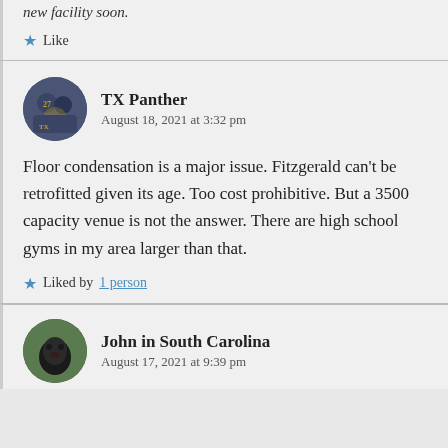new facility soon.
Like
TX Panther
August 18, 2021 at 3:32 pm
Floor condensation is a major issue. Fitzgerald can't be retrofitted given its age. Too cost prohibitive. But a 3500 capacity venue is not the answer. There are high school gyms in my area larger than that.
Liked by 1 person
John in South Carolina
August 17, 2021 at 9:39 pm